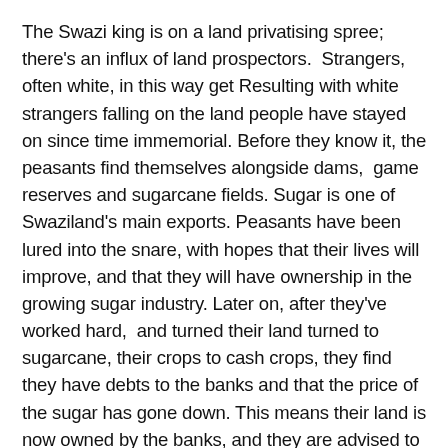The Swazi king is on a land privatising spree; there's an influx of land prospectors.  Strangers, often white, in this way get Resulting with white strangers falling on the land people have stayed on since time immemorial. Before they know it, the peasants find themselves alongside dams,  game reserves and sugarcane fields. Sugar is one of Swaziland's main exports. Peasants have been lured into the snare, with hopes that their lives will improve, and that they will have ownership in the growing sugar industry. Later on, after they've worked hard,  and turned their land turned to sugarcane, their crops to cash crops, they find they have debts to the banks and that the price of the sugar has gone down. This means their land is now owned by the banks, and they are advised to sign transfer documents. In other incidents the peasants are being told not to have more than ten cows.